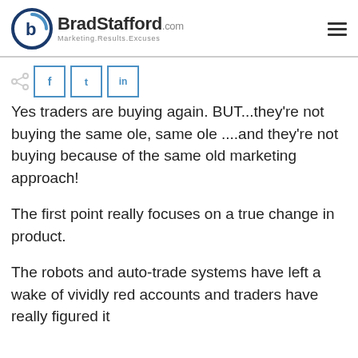BradStafford.com — Marketing.Results.Excuses
Yes traders are buying again. BUT...they're not buying the same ole, same ole ....and they're not buying because of the same old marketing approach!
The first point really focuses on a true change in product.
The robots and auto-trade systems have left a wake of vividly red accounts and traders have really figured it